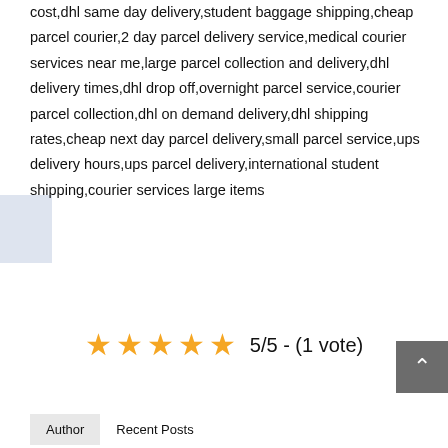cost,dhl same day delivery,student baggage shipping,cheap parcel courier,2 day parcel delivery service,medical courier services near me,large parcel collection and delivery,dhl delivery times,dhl drop off,overnight parcel service,courier parcel collection,dhl on demand delivery,dhl shipping rates,cheap next day parcel delivery,small parcel service,ups delivery hours,ups parcel delivery,international student shipping,courier services large items
[Figure (other): 5-star rating display showing 5 gold stars and text '5/5 - (1 vote)']
[Figure (other): Gray scroll-to-top button with upward chevron arrow]
Author   Recent Posts